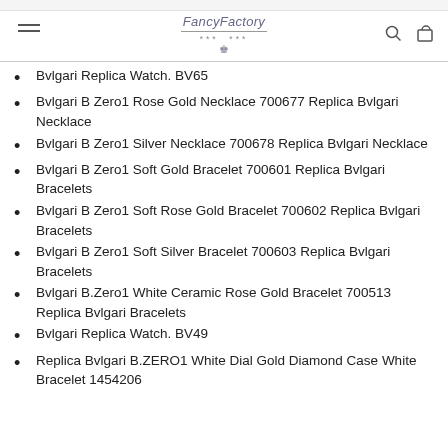FancyFactory
Bvlgari Replica Watch. BV65
Bvlgari B Zero1 Rose Gold Necklace 700677 Replica Bvlgari Necklace
Bvlgari B Zero1 Silver Necklace 700678 Replica Bvlgari Necklace
Bvlgari B Zero1 Soft Gold Bracelet 700601 Replica Bvlgari Bracelets
Bvlgari B Zero1 Soft Rose Gold Bracelet 700602 Replica Bvlgari Bracelets
Bvlgari B Zero1 Soft Silver Bracelet 700603 Replica Bvlgari Bracelets
Bvlgari B.Zero1 White Ceramic Rose Gold Bracelet 700513 Replica Bvlgari Bracelets
Bvlgari Replica Watch. BV49
Replica Bvlgari B.ZERO1 White Dial Gold Diamond Case White Bracelet 1454206